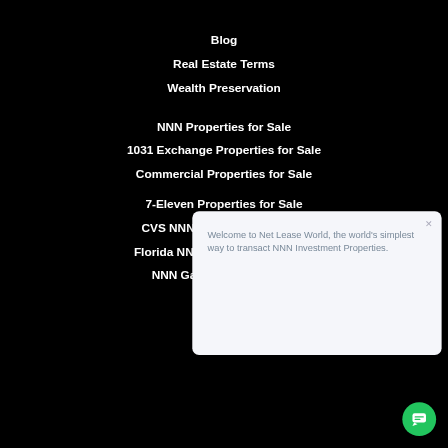Blog
Real Estate Terms
Wealth Preservation
NNN Properties for Sale
1031 Exchange Properties for Sale
Commercial Properties for Sale
7-Eleven Properties for Sale
CVS NNN Properties For Sale
Florida NNN Properties For Sale
NNN Gas Station For Sale
Welcome to Net Lease World, the world's simplest way to transact NNN Investment Properties.